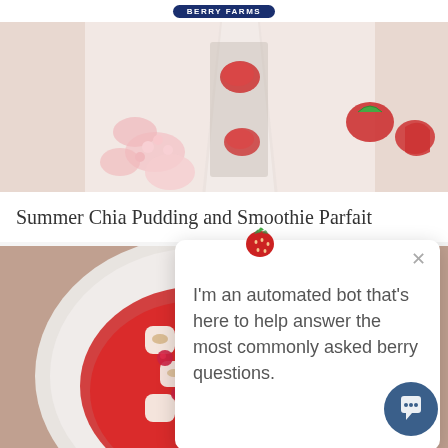BERRY FARMS
[Figure (photo): Chia pudding parfait in a glass with strawberries and pink flowers]
Summer Chia Pudding and Smoothie Parfait
[Figure (photo): Berry dessert with marshmallows and raspberries in red sauce on a plate]
I'm an automated bot that's here to help answer the most commonly asked berry questions.